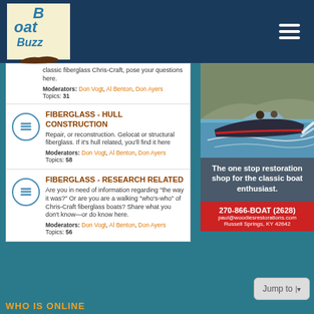CCABC Boat Buzz
classic fiberglass Chris-Craft, pose your questions here.
Moderators: Don Vogt, Al Benton, Don Ayers
Topics: 31
FIBERGLASS - HULL CONSTRUCTION
Repair, or reconstruction. Gelocat or structural fiberglass. If it's hull related, you'll find it here
Moderators: Don Vogt, Al Benton, Don Ayers
Topics: 58
FIBERGLASS - RESEARCH RELATED
Are you in need of information regarding "the way it was?" Or are you are a walking "who's-who" of Chris-Craft fiberglass boats? Share what you don't know—or do know here.
Moderators: Don Vogt, Al Benton, Don Ayers
Topics: 56
[Figure (photo): Classic wooden speedboat racing on water with two people aboard, advertisement for Woodies Restorations. Text: The one stop restoration shop for the classic boat enthusiast. 270-866-BOAT (2628), paul@woodiesrestorations.com, Russell Springs, KY 42642]
WHO IS ONLINE